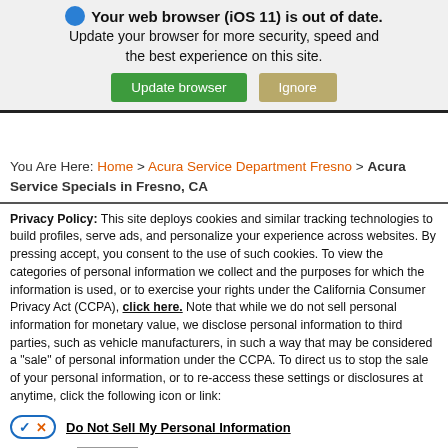[Figure (screenshot): Browser update notification banner with blue globe icon, bold text 'Your web browser (iOS 11) is out of date. Update your browser for more security, speed and the best experience on this site.' with green 'Update browser' button and tan 'Ignore' button.]
You Are Here: Home > Acura Service Department Fresno > Acura Service Specials in Fresno, CA
Privacy Policy: This site deploys cookies and similar tracking technologies to build profiles, serve ads, and personalize your experience across websites. By pressing accept, you consent to the use of such cookies. To view the categories of personal information we collect and the purposes for which the information is used, or to exercise your rights under the California Consumer Privacy Act (CCPA), click here. Note that while we do not sell personal information for monetary value, we disclose personal information to third parties, such as vehicle manufacturers, in such a way that may be considered a "sale" of personal information under the CCPA. To direct us to stop the sale of your personal information, or to re-access these settings or disclosures at anytime, click the following icon or link:
Do Not Sell My Personal Information
Language: English    Powered by ComplyAuto
Accept and Continue →    California Privacy Disclosures